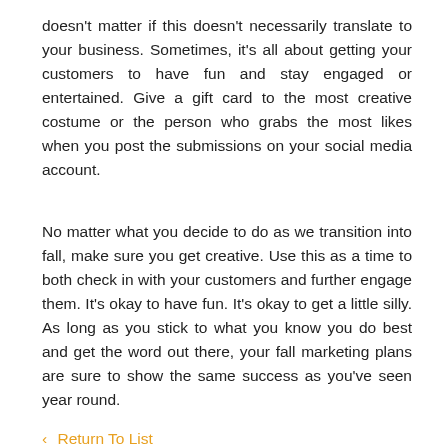doesn't matter if this doesn't necessarily translate to your business. Sometimes, it's all about getting your customers to have fun and stay engaged or entertained. Give a gift card to the most creative costume or the person who grabs the most likes when you post the submissions on your social media account.
No matter what you decide to do as we transition into fall, make sure you get creative. Use this as a time to both check in with your customers and further engage them. It's okay to have fun. It's okay to get a little silly. As long as you stick to what you know you do best and get the word out there, your fall marketing plans are sure to show the same success as you've seen year round.
‹  Return To List